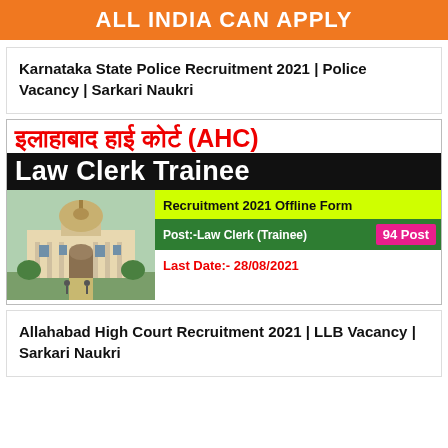ALL INDIA CAN APPLY
Karnataka State Police Recruitment 2021 | Police Vacancy | Sarkari Naukri
[Figure (infographic): Allahabad High Court (AHC) Law Clerk Trainee Recruitment 2021 Offline Form infographic. Shows Hindi text 'इलाहाबाद हाई कोर्ट (AHC)' in red, 'Law Clerk Trainee' in white on black, image of a government building, yellow banner 'Recruitment 2021 Offline Form', green banner 'Post:-Law Clerk (Trainee)' with pink badge '94 Post', and red text 'Last Date:- 28/08/2021'.]
Allahabad High Court Recruitment 2021 | LLB Vacancy | Sarkari Naukri